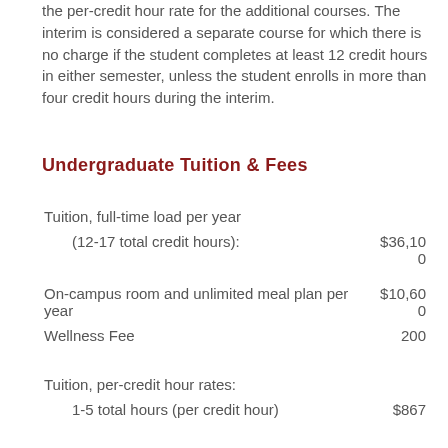the per-credit hour rate for the additional courses. The interim is considered a separate course for which there is no charge if the student completes at least 12 credit hours in either semester, unless the student enrolls in more than four credit hours during the interim.
Undergraduate Tuition & Fees
| Item | Amount |
| --- | --- |
| Tuition, full-time load per year |  |
| (12-17 total credit hours): | $36,100 |
| On-campus room and unlimited meal plan per year | $10,600 |
| Wellness Fee | 200 |
| Tuition, per-credit hour rates: |  |
| 1-5 total hours (per credit hour) | $867 |